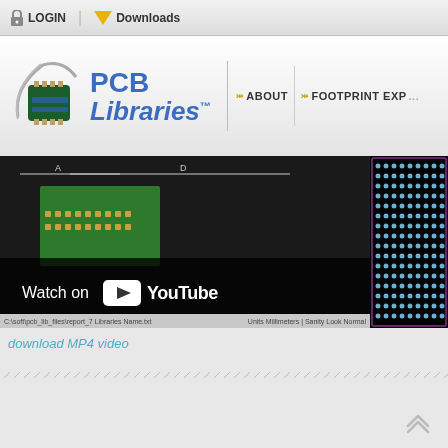LOGIN | Downloads
[Figure (logo): PCB Libraries logo with circular chip graphic and blue text reading 'PCB Libraries']
ABOUT | FOOTPRINT EXPE...
[Figure (screenshot): YouTube video embed thumbnail showing a PCB footprint layout with a 'Watch on YouTube' overlay button and PCB pad array view]
download MP4 video
[Figure (other): Diagonal dashed line separator]
[Figure (other): Scroll-to-top arrow icon in bottom right corner]